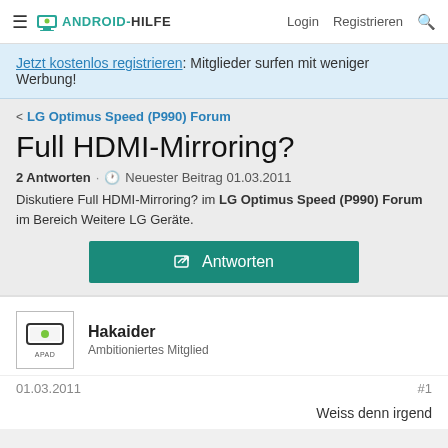ANDROID-HILFE | Login | Registrieren
Jetzt kostenlos registrieren: Mitglieder surfen mit weniger Werbung!
< LG Optimus Speed (P990) Forum
Full HDMI-Mirroring?
2 Antworten · Neuester Beitrag 01.03.2011
Diskutiere Full HDMI-Mirroring? im LG Optimus Speed (P990) Forum im Bereich Weitere LG Geräte.
Antworten
Hakaider
Ambitioniertes Mitglied
01.03.2011
#1
Weiss denn irgend